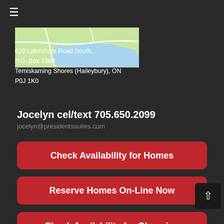[Figure (map): Map thumbnail showing Temiskaming Shores / Haileybury area with roads and lake in blue]
620 Lakeshore Road South, P.O. Box 1380
Temiskaming Shores (Haileybury), ON
P0J 1K0
Jocelyn cel/text 705.650.2099
jocelyn@presidentssuites.com
Check Availability for Homes
Reserve Homes On-Line Now
Check Availability for Glamping